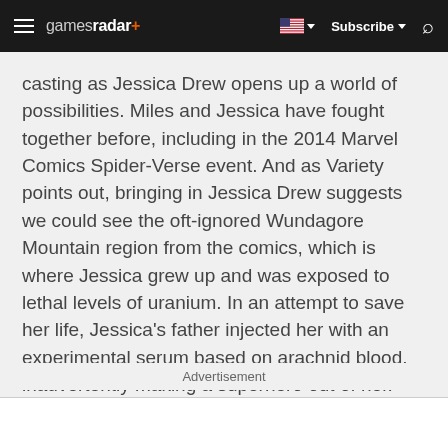gamesradar+  Subscribe
casting as Jessica Drew opens up a world of possibilities. Miles and Jessica have fought together before, including in the 2014 Marvel Comics Spider-Verse event. And as Variety points out, bringing in Jessica Drew suggests we could see the oft-ignored Wundagore Mountain region from the comics, which is where Jessica grew up and was exposed to lethal levels of uranium. In an attempt to save her life, Jessica's father injected her with an experimental serum based on arachnid blood, inadvertently making a superhero out of her.
Advertisement